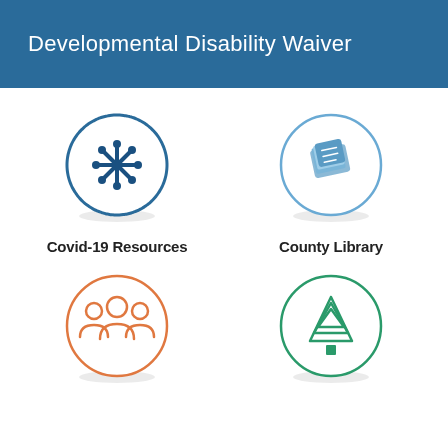Developmental Disability Waiver
[Figure (illustration): Circle icon with snowflake/asterisk symbol in dark blue, representing Covid-19 Resources]
Covid-19 Resources
[Figure (illustration): Circle icon with book symbol in light blue, representing County Library]
County Library
[Figure (illustration): Circle icon with group of people symbol in orange, representing a community or people resource]
[Figure (illustration): Circle icon with pine tree symbol in green, representing a parks or nature resource]